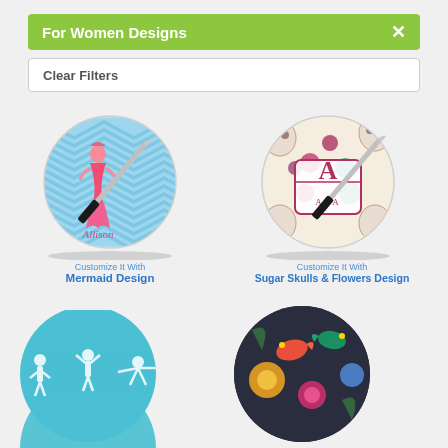For Women Designs ×
Clear Filters
[Figure (photo): Round glass cutting board with blue chevron pattern and pink mermaid character with name Allison, shown with a knife]
Customize It With
Mermaid Design
[Figure (photo): Round glass cutting board with sugar skulls and flowers pattern with monogram letter A, shown with a knife]
Customize It With
Sugar Skulls & Flowers Design
[Figure (photo): Round glass cutting board with teal background and yoga figures pattern, partially shown]
[Figure (photo): Round glass cutting board with dark background and colorful birds and flowers pattern, partially shown]